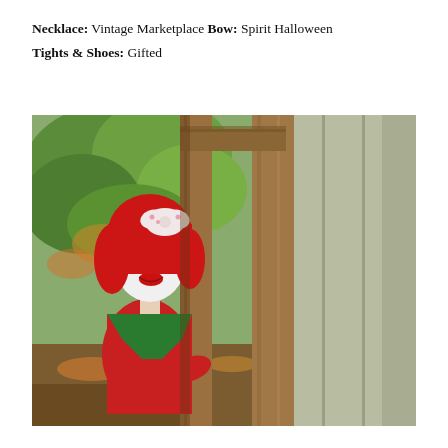Necklace: Vintage Marketplace Bow: Spirit Halloween Tights & Shoes: Gifted
[Figure (photo): A person in a Halloween costume — red wig, white clown face paint with red lips, red outfit with green collar trim, and a white bow/headpiece — peeking out from behind a wooden post/structure, with green trees and autumn foliage in the background.]